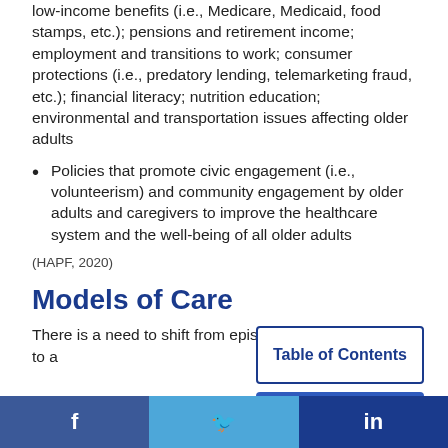low-income benefits (i.e., Medicare, Medicaid, food stamps, etc.); pensions and retirement income; employment and transitions to work; consumer protections (i.e., predatory lending, telemarketing fraud, etc.); financial literacy; nutrition education; environmental and transportation issues affecting older adults
Policies that promote civic engagement (i.e., volunteerism) and community engagement by older adults and caregivers to improve the healthcare system and the well-being of all older adults
(HAPF, 2020)
Models of Care
There is a need to shift from episodic acute illness care to a
f  [Twitter bird]  in